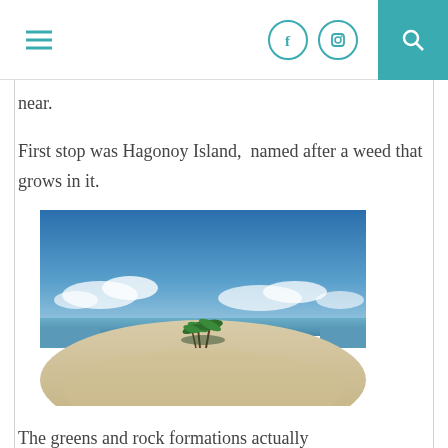Navigation header with hamburger menu, social icons (Facebook, Instagram), and search button
near.
First stop was Hagonoy Island,  named after a weed that grows in it.
[Figure (photo): A tropical beach scene with white sand, calm sea, and a small cluster of palm trees in the middle distance under a bright blue sky with clouds. This is Hagonoy Island.]
The greens and rock formations actually